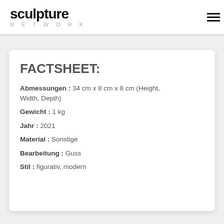sculpture NETWORK
FACTSHEET:
Abmessungen : 34 cm x 8 cm x 8 cm (Height, Width, Depth)
Gewicht : 1 kg
Jahr : 2021
Material : Sonstige
Bearbeitung : Guss
Stil : figurativ, modern